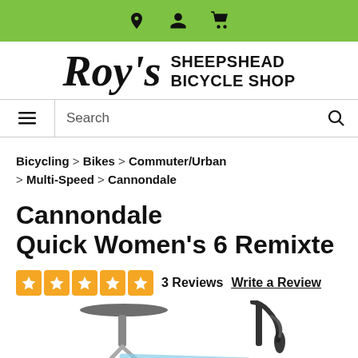Navigation bar with location, account, and cart icons
Roy's Sheepshead Bicycle Shop
Search
Bicycling > Bikes > Commuter/Urban > Multi-Speed > Cannondale
Cannondale Quick Women's 6 Remixte
3 Reviews   Write a Review
[Figure (photo): Partial view of a blue Cannondale bicycle showing saddle and handlebars]